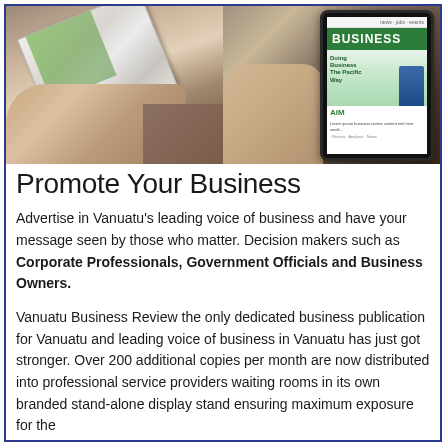[Figure (photo): Two-panel photo strip: left panel shows hands holding a printed magazine/publication at an angle; right panel shows a hand holding a tablet displaying a 'BUSINESS' magazine cover with green header and 'Doing Business The Pacific Way' subtitle.]
Promote Your Business
Advertise in Vanuatu's leading voice of business and have your message seen by those who matter. Decision makers such as Corporate Professionals, Government Officials and Business Owners.
Vanuatu Business Review the only dedicated business publication for Vanuatu and leading voice of business in Vanuatu has just got stronger. Over 200 additional copies per month are now distributed into professional service providers waiting rooms in its own branded stand-alone display stand ensuring maximum exposure for the